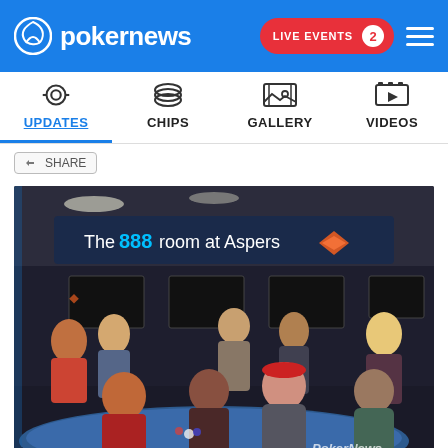pokernews — LIVE EVENTS 2
UPDATES | CHIPS | GALLERY | VIDEOS
SHARE
[Figure (photo): Interior of 'The 888 room at Aspers' poker room. A large illuminated sign reads 'The 888 room at Aspers' with a diamond logo. Multiple poker tables are visible with players seated. Staff and spectators stand in the background. A player in a red cap is prominently visible in the foreground. PokerNews watermark in the bottom right.]